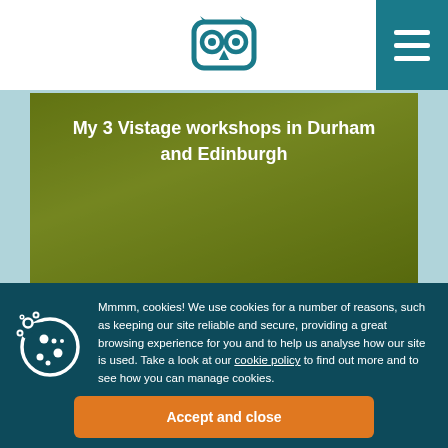Owl logo and navigation menu
[Figure (photo): Hero image with olive-green tinted background showing workshop materials, with title text overlay: My 3 Vistage workshops in Durham and Edinburgh]
My 3 Vistage workshops in Durham and Edinburgh
Mmmm, cookies! We use cookies for a number of reasons, such as keeping our site reliable and secure, providing a great browsing experience for you and to help us analyse how our site is used. Take a look at our cookie policy to find out more and to see how you can manage cookies.
Accept and close